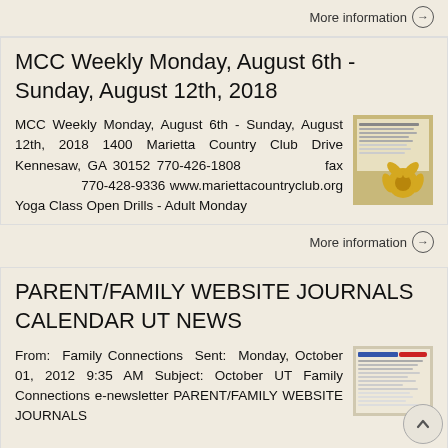More information →
MCC Weekly Monday, August 6th - Sunday, August 12th, 2018
MCC Weekly Monday, August 6th - Sunday, August 12th, 2018 1400 Marietta Country Club Drive Kennesaw, GA 30152 770-426-1808 fax 770-428-9336 www.mariettacountryclub.org Yoga Class Open Drills - Adult Monday
[Figure (other): Thumbnail image of a weekly schedule document with a sunflower]
More information →
PARENT/FAMILY WEBSITE JOURNALS CALENDAR UT NEWS
From: Family Connections Sent: Monday, October 01, 2012 9:35 AM Subject: October UT Family Connections e-newsletter PARENT/FAMILY WEBSITE JOURNALS
[Figure (other): Thumbnail of Family Connections newsletter document]